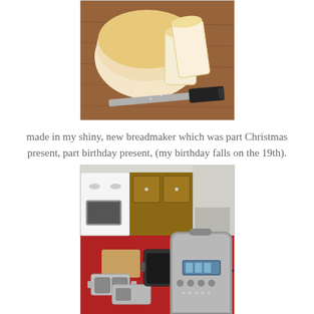[Figure (photo): Photo of sliced white bread loaf on a wooden cutting board with a bread knife]
made in my shiny, new breadmaker which was part Christmas present, part birthday present, (my birthday falls on the 19th).
[Figure (photo): Photo of a Breville breadmaker on a red table with attachments including a baking pan and mini loaf pans, kitchen in background]
And the first of what I am sure will be many bowls of ice